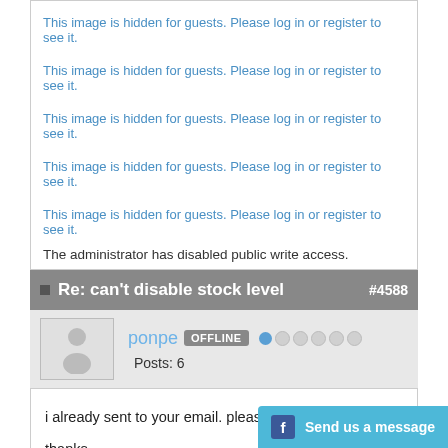This image is hidden for guests. Please log in or register to see it.
This image is hidden for guests. Please log in or register to see it.
This image is hidden for guests. Please log in or register to see it.
This image is hidden for guests. Please log in or register to see it.
This image is hidden for guests. Please log in or register to see it.
The administrator has disabled public write access.
Re: can't disable stock level #4588
ponpe OFFLINE Posts: 6
i already sent to your email. please check.

thanks.